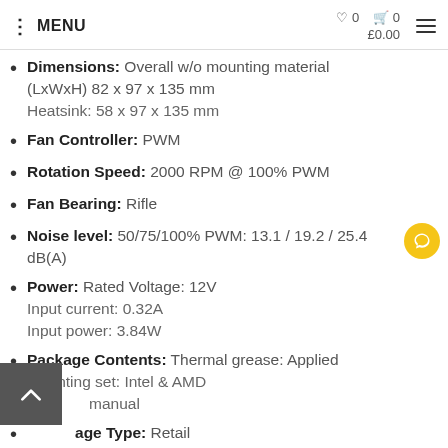MENU  ♡0  🛒0  £0.00
Dimensions: Overall w/o mounting material (LxWxH) 82 x 97 x 135 mm
Heatsink: 58 x 97 x 135 mm
Fan Controller: PWM
Rotation Speed: 2000 RPM @ 100% PWM
Fan Bearing: Rifle
Noise level: 50/75/100% PWM: 13.1 / 19.2 / 25.4 dB(A)
Power: Rated Voltage: 12V
Input current: 0.32A
Input power: 3.84W
Package Contents: Thermal grease: Applied
Mounting set: Intel & AMD
Manual
Package Type: Retail
Package Weight: 0.6000 kg